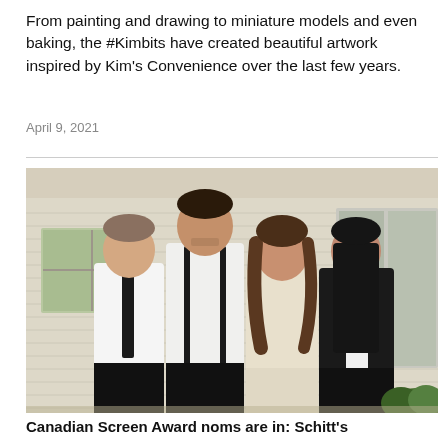From painting and drawing to miniature models and even baking, the #Kimbits have created beautiful artwork inspired by Kim's Convenience over the last few years.
April 9, 2021
[Figure (photo): Four people posing together in front of a building. Two men and two women dressed in black and white outfits. The man on the left wears a white shirt with a black tie, the tall man in the center wears a white shirt with black suspenders, the woman in cream wears a light knit top, and the woman on the right wears a black blazer over a white top.]
Canadian Screen Award noms are in: Schitt's